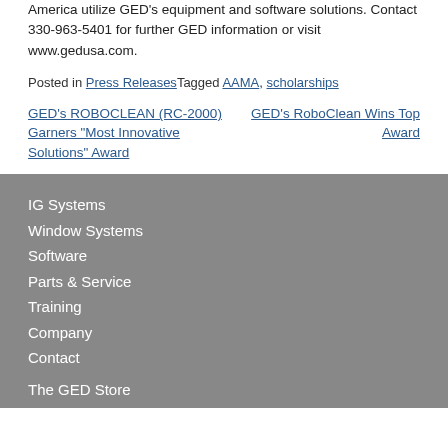America utilize GED's equipment and software solutions. Contact 330-963-5401 for further GED information or visit www.gedusa.com.
Posted in Press Releases Tagged AAMA, scholarships
GED's ROBOCLEAN (RC-2000) Garners “Most Innovative Solutions” Award
GED’s RoboClean Wins Top Award
IG Systems
Window Systems
Software
Parts & Service
Training
Company
Contact
The GED Store